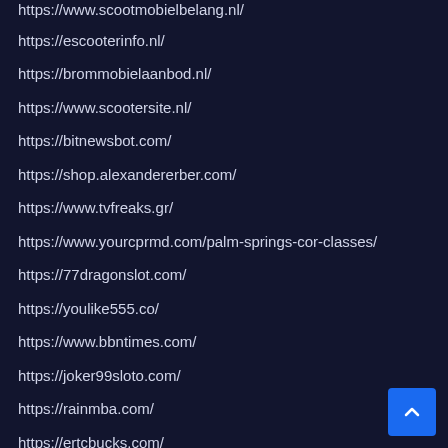https://www.scootmobielbelang.nl/
https://escooterinfo.nl/
https://brommobielaanbod.nl/
https://www.scootersite.nl/
https://bitnewsbot.com/
https://shop.alexandererber.com/
https://www.tvfreaks.gr/
https://www.yourcprmd.com/palm-springs-cor-classes/
https://77dragonslot.com/
https://youlike555.co/
https://www.bbntimes.com/
https://joker99sloto.com/
https://rainmba.com/
https://ertcbucks.com/
https://www.yourcprmd.com/bls-for-healthcare-providers/
https://www.criminal-lawyerseattle.com/